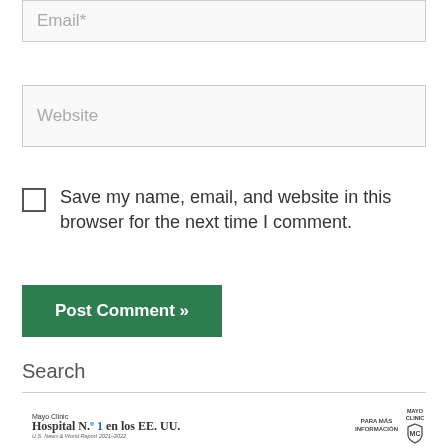Email*
Website
Save my name, email, and website in this browser for the next time I comment.
Post Comment »
Search
[Figure (logo): Mayo Clinic Hospital No. 1 en los EE. UU. - U.S. News & World Report 2021-2022 advertisement banner with Mayo Clinic shield logo and 'Para Más Información' text]